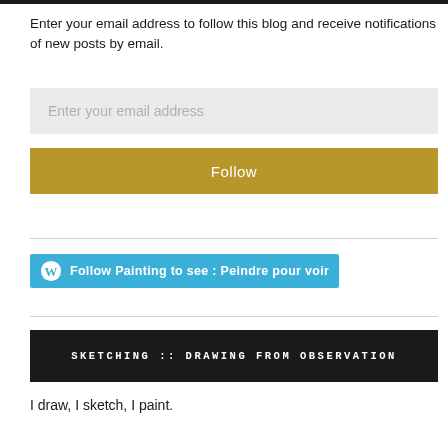Enter your email address to follow this blog and receive notifications of new posts by email.
Enter your email address
Follow
[Figure (other): WordPress Follow button: 'Follow Painting to see : Peindre pour voir' with WordPress logo icon on cyan/blue background]
SKETCHING :: DRAWING FROM OBSERVATION
I draw, I sketch, I paint.